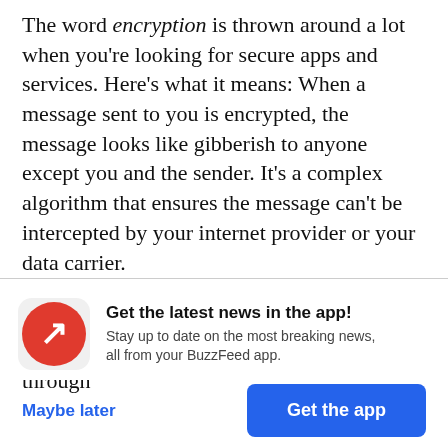The word encryption is thrown around a lot when you're looking for secure apps and services. Here's what it means: When a message sent to you is encrypted, the message looks like gibberish to anyone except you and the sender. It's a complex algorithm that ensures the message can't be intercepted by your internet provider or your data carrier.

The most common way apps use encryption is in transit, when the message is traveling through
[Figure (logo): BuzzFeed app notification prompt with red circular BuzzFeed logo (white trending arrow), bold title 'Get the latest news in the app!', subtitle 'Stay up to date on the most breaking news, all from your BuzzFeed app.', a 'Maybe later' text link button, and a blue 'Get the app' button.]